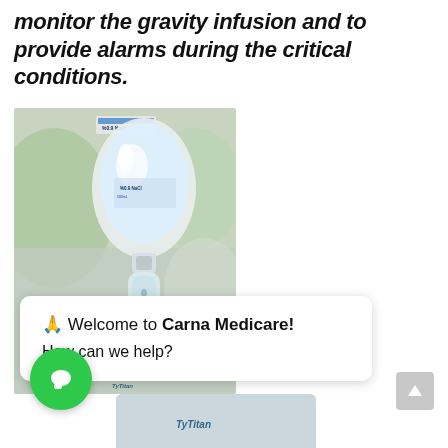monitor the gravity infusion and to provide alarms during the critical conditions.
[Figure (photo): A photograph of an IV gravity infusion bag and drip chamber — a clear saline bag with blue label text visible, connected to a drip chamber and tubing, in a clinical/hospital setting with blurred green background.]
🙏 Welcome to Carna Medicare!
How can we help?
[Figure (photo): Bottom portion of a medical product image, partially visible, with a Titan brand logo/text.]